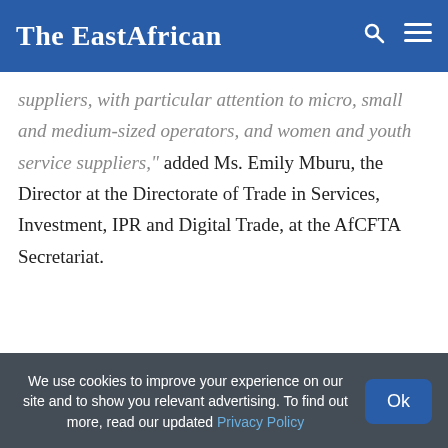The EastAfrican
suppliers, with particular attention to micro, small and medium-sized operators, and women and youth service suppliers," added Ms. Emily Mburu, the Director at the Directorate of Trade in Services, Investment, IPR and Digital Trade, at the AfCFTA Secretariat.
Economic inclusion, gender equality
“A report developed by our experts has found that
We use cookies to improve your experience on our site and to show you relevant advertising. To find out more, read our updated Privacy Policy